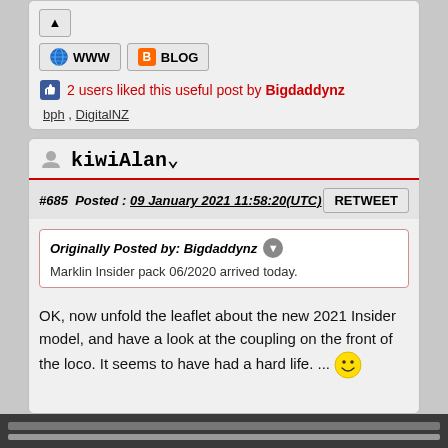[Figure (screenshot): Eject/upload button icon]
[Figure (screenshot): WWW and BLOG link buttons]
2 users liked this useful post by Bigdaddynz
bph , DigitalNZ
kiwiAlan
#685  Posted : 09 January 2021 11:58:20(UTC)
Originally Posted by: Bigdaddynz
Marklin Insider pack 06/2020 arrived today.
OK, now unfold the leaflet about the new 2021 Insider model, and have a look at the coupling on the front of the loco. It seems to have had a hard life. ...